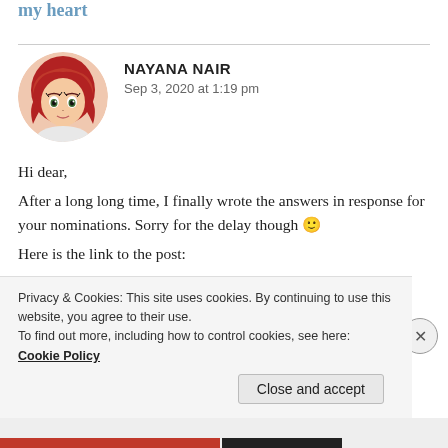my heart
NAYANA NAIR
Sep 3, 2020 at 1:19 pm
Hi dear,
After a long long time, I finally wrote the answers in response for your nominations. Sorry for the delay though 🙂
Here is the link to the post:
https://itrainsinmyheart.wordpress.com/2019/
Privacy & Cookies: This site uses cookies. By continuing to use this website, you agree to their use.
To find out more, including how to control cookies, see here: Cookie Policy
Close and accept